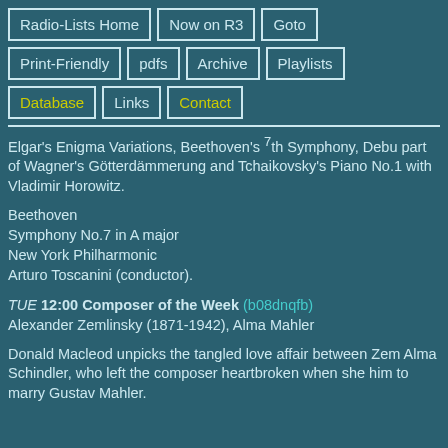Radio-Lists Home
Now on R3
Goto
Print-Friendly
pdfs
Archive
Playlists
Database
Links
Contact
Elgar's Enigma Variations, Beethoven's 7th Symphony, Debu part of Wagner's Götterdämmerung and Tchaikovsky's Piano No.1 with Vladimir Horowitz.
Beethoven
Symphony No.7 in A major
New York Philharmonic
Arturo Toscanini (conductor).
TUE 12:00 Composer of the Week (b08dnqfb)
Alexander Zemlinsky (1871-1942), Alma Mahler
Donald Macleod unpicks the tangled love affair between Zem Alma Schindler, who left the composer heartbroken when she him to marry Gustav Mahler.